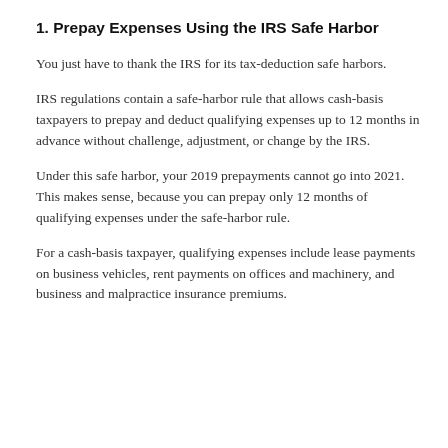1. Prepay Expenses Using the IRS Safe Harbor
You just have to thank the IRS for its tax-deduction safe harbors.
IRS regulations contain a safe-harbor rule that allows cash-basis taxpayers to prepay and deduct qualifying expenses up to 12 months in advance without challenge, adjustment, or change by the IRS.
Under this safe harbor, your 2019 prepayments cannot go into 2021. This makes sense, because you can prepay only 12 months of qualifying expenses under the safe-harbor rule.
For a cash-basis taxpayer, qualifying expenses include lease payments on business vehicles, rent payments on offices and machinery, and business and malpractice insurance premiums.